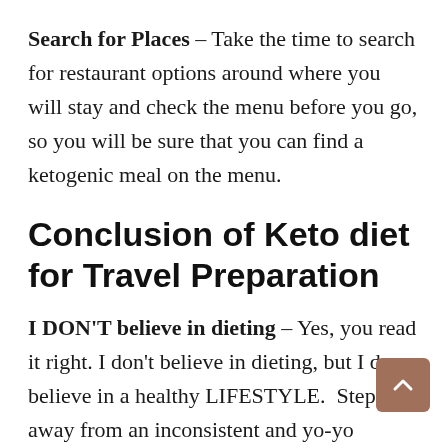Search for Places – Take the time to search for restaurant options around where you will stay and check the menu before you go, so you will be sure that you can find a ketogenic meal on the menu.
Conclusion of Keto diet for Travel Preparation
I DON'T believe in dieting – Yes, you read it right. I don't believe in dieting, but I do believe in a healthy LIFESTYLE.  Step away from an inconsistent and yo-yo dieting lifestyle. Lose weight during a period of time